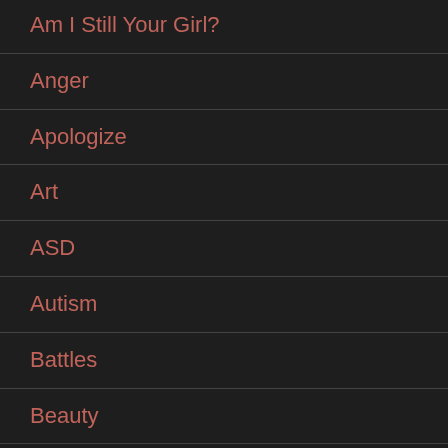Am I Still Your Girl?
Anger
Apologize
Art
ASD
Autism
Battles
Beauty